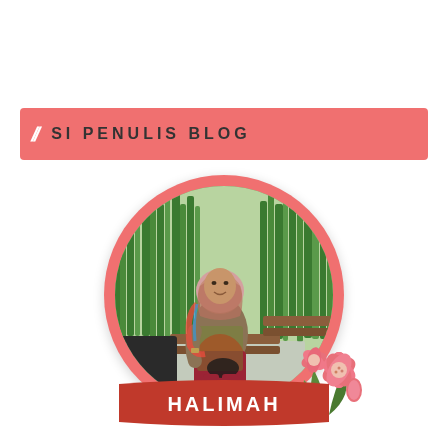SI PENULIS BLOG
[Figure (photo): Circular framed portrait photo of a woman wearing a hijab and colorful batik clothing, sitting on a bench in a lush garden setting. Decorated with pink flowers on the lower right.]
HALIMAH